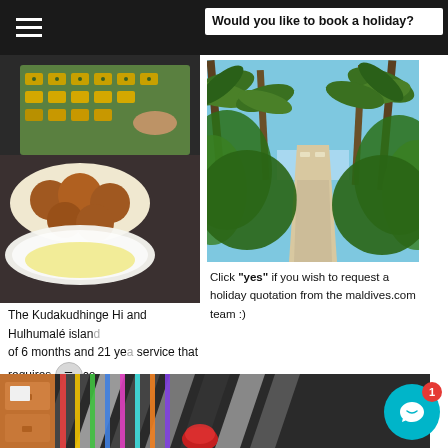≡
Would you like to book a holiday?
[Figure (photo): Close-up of food items including pastries with toppings and round orange-brown doughnuts on a plate with accompaniments, buffet style]
[Figure (photo): Tropical island pathway lined with tall palm trees and lush green vegetation leading toward a bright beach, sunny day]
The Kudakudhinge Hi and Hulhumalé island of 6 months and 21 ye service that requires industry in orde educational environment for these children.
Click "yes" if you wish to request a holiday quotation from the maldives.com team :)
[Figure (photo): Colorful art supplies and zebra-print fabric background with colorful sticks and red object, bright classroom or craft setting]